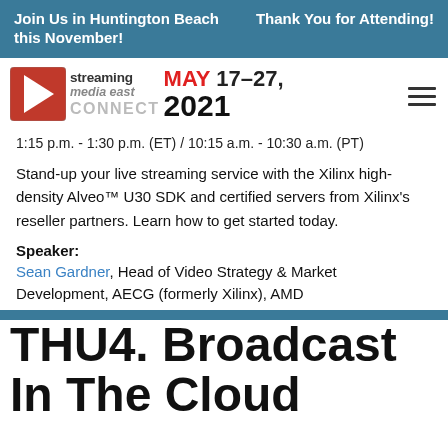Join Us in Huntington Beach this November!    Thank You for Attending!
[Figure (logo): Streaming Media East Connect logo with red star icon, event date MAY 17-27, 2021]
1:15 p.m. - 1:30 p.m. (ET) / 10:15 a.m. - 10:30 a.m. (PT)
Stand-up your live streaming service with the Xilinx high-density Alveo™ U30 SDK and certified servers from Xilinx's reseller partners. Learn how to get started today.
Speaker:
Sean Gardner, Head of Video Strategy & Market Development, AECG (formerly Xilinx), AMD
THU4. Broadcast In The Cloud